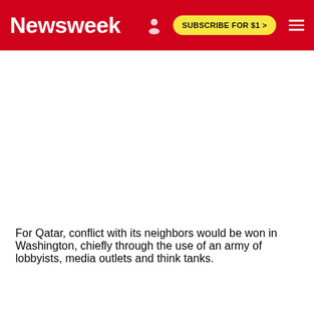Newsweek | SUBSCRIBE FOR $1 >
[Figure (other): Advertisement/blank white space area below the header navigation bar]
For Qatar, conflict with its neighbors would be won in Washington, chiefly through the use of an army of lobbyists, media outlets and think tanks.